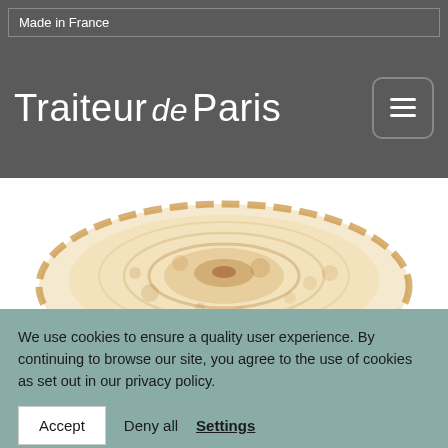Made in France
Traiteur de Paris
[Figure (photo): A round French crepe/blini viewed from above, golden-brown with characteristic circular cooking marks on a white background]
We use cookies to ensure a quality user experience. By continuing to browse our site, you agree to the use of cookies as set out in our privacy policy.
Accept   Deny all   Settings